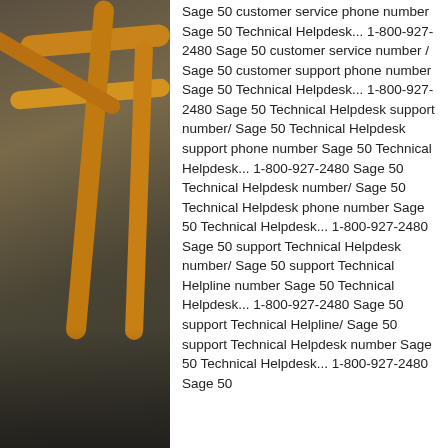[Figure (photo): Photo of bamboo or metal railing/scaffolding structure with orange/yellow painted poles against a dark grey background]
Sage 50 customer service phone number Sage 50 Technical Helpdesk... 1-800-927-2480 Sage 50 customer service number / Sage 50 customer support phone number Sage 50 Technical Helpdesk... 1-800-927-2480 Sage 50 Technical Helpdesk support number/ Sage 50 Technical Helpdesk support phone number Sage 50 Technical Helpdesk... 1-800-927-2480 Sage 50 Technical Helpdesk number/ Sage 50 Technical Helpdesk phone number Sage 50 Technical Helpdesk... 1-800-927-2480 Sage 50 support Technical Helpdesk number/ Sage 50 support Technical Helpline number Sage 50 Technical Helpdesk... 1-800-927-2480 Sage 50 support Technical Helpline/ Sage 50 support Technical Helpdesk number Sage 50 Technical Helpdesk... 1-800-927-2480 Sage 50